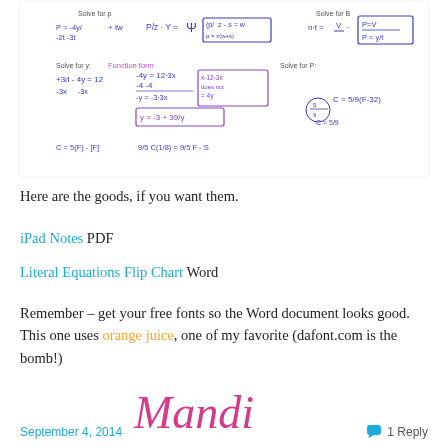[Figure (photo): Handwritten math notes showing literal equations work including solving for variables, function form, and temperature conversion formulas in blue and purple ink on white paper]
Here are the goods, if you want them.
iPad Notes PDF
Literal Equations Flip Chart Word
Remember – get your free fonts so the Word document looks good.  This one uses orange juice, one of my favorite (dafont.com is the bomb!)
[Figure (illustration): Stylized cursive signature reading 'Mandi' in hot pink/magenta script font]
September 4, 2014   1 Reply